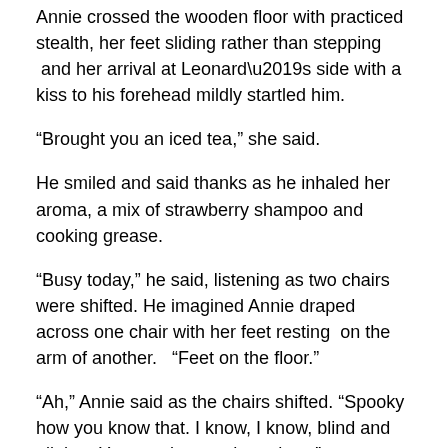Annie crossed the wooden floor with practiced stealth, her feet sliding rather than stepping  and her arrival at Leonard's side with a kiss to his forehead mildly startled him.
“Brought you an iced tea,” she said.
He smiled and said thanks as he inhaled her aroma, a mix of strawberry shampoo and cooking grease.
“Busy today,” he said, listening as two chairs were shifted. He imagined Annie draped across one chair with her feet resting  on the arm of another.   “Feet on the floor.”
“Ah,” Annie said as the chairs shifted. “Spooky how you know that. I know, I know, blind and all that. You need to teach me how.”
“I’d say you already know how. You get around rather